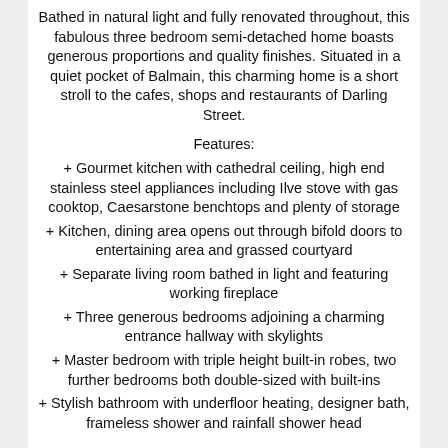Bathed in natural light and fully renovated throughout, this fabulous three bedroom semi-detached home boasts generous proportions and quality finishes. Situated in a quiet pocket of Balmain, this charming home is a short stroll to the cafes, shops and restaurants of Darling Street.
Features:
+ Gourmet kitchen with cathedral ceiling, high end stainless steel appliances including Ilve stove with gas cooktop, Caesarstone benchtops and plenty of storage
+ Kitchen, dining area opens out through bifold doors to entertaining area and grassed courtyard
+ Separate living room bathed in light and featuring working fireplace
+ Three generous bedrooms adjoining a charming entrance hallway with skylights
+ Master bedroom with triple height built-in robes, two further bedrooms both double-sized with built-ins
+ Stylish bathroom with underfloor heating, designer bath, frameless shower and rainfall shower head